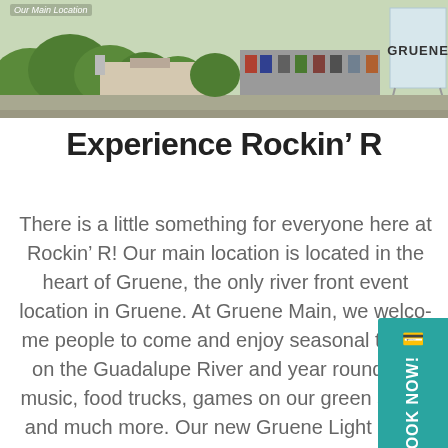[Figure (photo): Aerial photo of Gruene main location with water tower reading GRUENE visible on the right side, trees and parking lot visible]
Our Main Location
Experience Rockin' R
There is a little something for everyone here at Rockin' R! Our main location is located in the heart of Gruene, the only river front event location in Gruene. At Gruene Main, we welcome people to come and enjoy seasonal tubing on the Guadalupe River and year round live music, food trucks, games on our green space and much more. Our new Gruene Light bar is just steps away from the river and has great drinks and live music all summer long! We are open year round here, come out and enjoy!